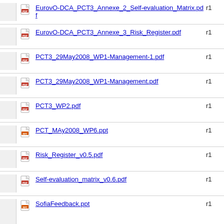EurovO-DCA_PCT3_Annexe_2_Self-evaluation_Matrix.pdf r1
EurovO-DCA_PCT3_Annexe_3_Risk_Register.pdf r1
PCT3_29May2008_WP1-Management-1.pdf r1
PCT3_29May2008_WP1-Management.pdf r1
PCT3_WP2.pdf r1
PCT_MAy2008_WP6.ppt r1
Risk_Register_v0.5.pdf r1
Self-evaluation_matrix_v0.6.pdf r1
SofiaFeedback.ppt r1
report_WP4.ppt r1
wp5-pct-29May.pdf r2